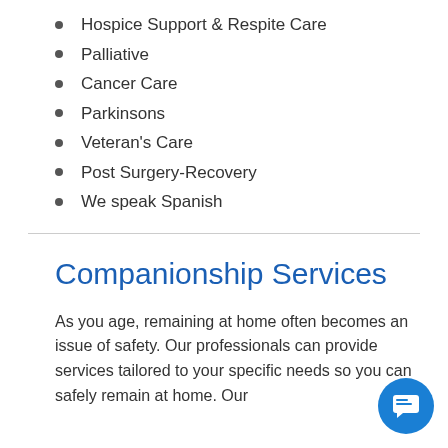Hospice Support & Respite Care
Palliative
Cancer Care
Parkinsons
Veteran's Care
Post Surgery-Recovery
We speak Spanish
Companionship Services
As you age, remaining at home often becomes an issue of safety. Our professionals can provide services tailored to your specific needs so you can safely remain at home. Our